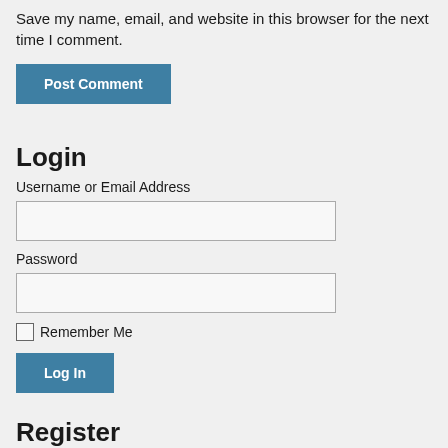Save my name, email, and website in this browser for the next time I comment.
Post Comment
Login
Username or Email Address
Password
Remember Me
Log In
Register